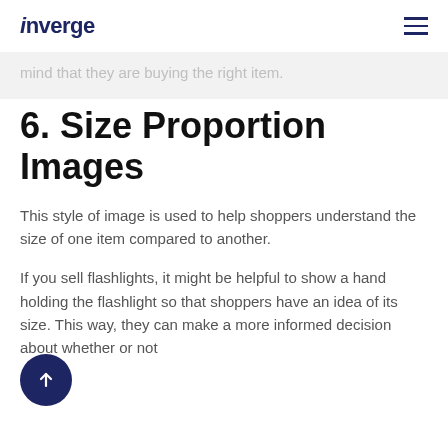inverge
mind that they are buying the right item.
6. Size Proportion Images
This style of image is used to help shoppers understand the size of one item compared to another.
If you sell flashlights, it might be helpful to show a hand holding the flashlight so that shoppers have an idea of its size. This way, they can make a more informed decision about whether or not